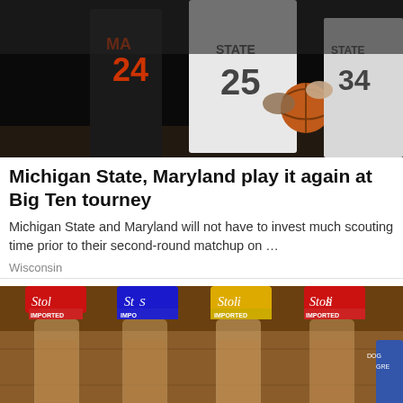[Figure (photo): Basketball game photo showing Michigan State (white uniforms, numbers 25 and 34) and Maryland (black uniform, number 24) players competing for the ball.]
Michigan State, Maryland play it again at Big Ten tourney
Michigan State and Maryland will not have to invest much scouting time prior to their second-round matchup on …
Wisconsin
[Figure (photo): Photo of multiple Stolichnaya vodka bottles lined up on a wooden surface, with Grey Goose partially visible on the right edge.]